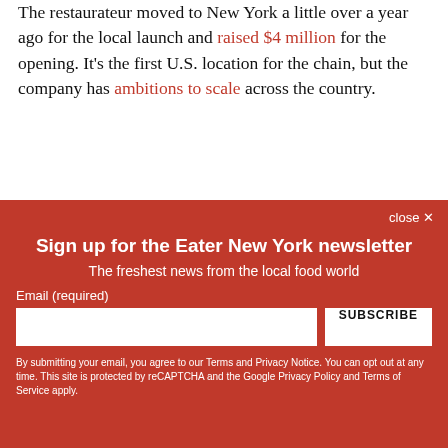The restaurateur moved to New York a little over a year ago for the local launch and raised $4 million for the opening. It's the first U.S. location for the chain, but the company has ambitions to scale across the country.
close ×
Sign up for the Eater New York newsletter
The freshest news from the local food world
Email (required)
SUBSCRIBE
By submitting your email, you agree to our Terms and Privacy Notice. You can opt out at any time. This site is protected by reCAPTCHA and the Google Privacy Policy and Terms of Service apply.